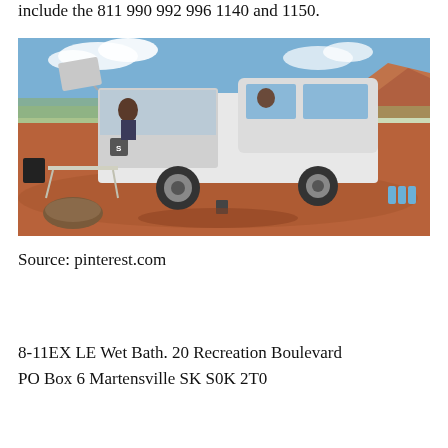include the 811 990 992 996 1140 and 1150.
[Figure (photo): A white pickup truck with a custom camper/utility body parked on red dirt terrain with desert landscape and mountains in background. The rear of the truck is open showing equipment inside. A folding table/step is set up beside the truck. People are visible near the truck.]
Source: pinterest.com
8-11EX LE Wet Bath. 20 Recreation Boulevard PO Box 6 Martensville SK S0K 2T0